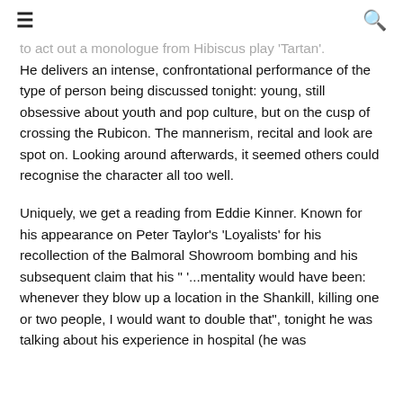☰  🔍
...to act out a monologue from Hibiscus play 'Tartan'. He delivers an intense, confrontational performance of the type of person being discussed tonight: young, still obsessive about youth and pop culture, but on the cusp of crossing the Rubicon. The mannerism, recital and look are spot on. Looking around afterwards, it seemed others could recognise the character all too well.
Uniquely, we get a reading from Eddie Kinner. Known for his appearance on Peter Taylor's 'Loyalists' for his recollection of the Balmoral Showroom bombing and his subsequent claim that his " '...mentality would have been: whenever they blow up a location in the Shankill, killing one or two people, I would want to double that", tonight he was talking about his experience in hospital (he was